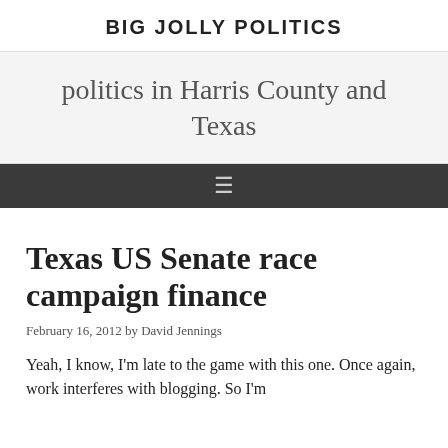BIG JOLLY POLITICS
politics in Harris County and Texas
Texas US Senate race campaign finance
February 16, 2012 by David Jennings
Yeah, I know, I'm late to the game with this one. Once again, work interferes with blogging. So I'm